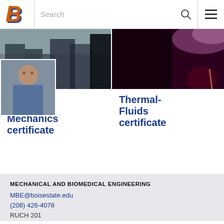[Figure (screenshot): Boise State University website navigation bar with orange/blue B logo, Search field, search icon, and hamburger menu icon]
[Figure (photo): Left card with photo of people outdoors near a vehicle, overlapping with another photo of smiling man in plaid shirt]
Solid Mechanics certificate
[Figure (photo): Right card with dark purple/red photo, likely a performance or lab scene with light streaks]
Thermal-Fluids certificate
MECHANICAL AND BIOMEDICAL ENGINEERING
MBE@boisestate.edu
(208) 426-4078
RUCH 201